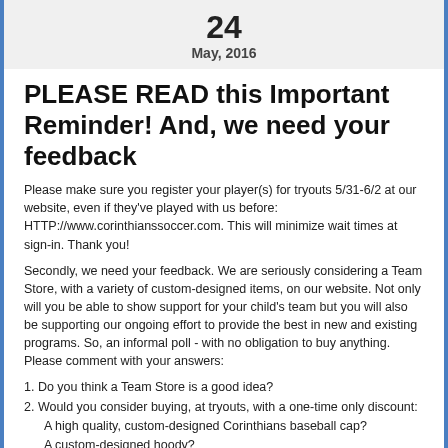24
May, 2016
PLEASE READ this Important Reminder! And, we need your feedback
Please make sure you register your player(s) for tryouts 5/31-6/2 at our website, even if they've played with us before: HTTP://www.corinthianssoccer.com. This will minimize wait times at sign-in. Thank you!
Secondly, we need your feedback. We are seriously considering a Team Store, with a variety of custom-designed items, on our website. Not only will you be able to show support for your child's team but you will also be supporting our ongoing effort to provide the best in new and existing programs. So, an informal poll - with no obligation to buy anything. Please comment with your answers:
1. Do you think a Team Store is a good idea?
2. Would you consider buying, at tryouts, with a one-time only discount:
A high quality, custom-designed Corinthians baseball cap?
A custom-designed hoody?